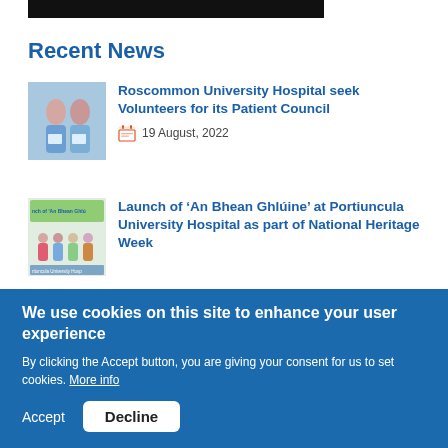[Figure (photo): Partial top black navigation bar]
Recent News
[Figure (photo): Thumbnail photo of two women holding documents outdoors]
Roscommon University Hospital seek Volunteers for its Patient Council
19 August, 2022
[Figure (photo): Thumbnail image of group at launch event with banner reading 'An Bhean Ghlúine' at Portiuncula University Hospital]
Launch of ‘An Bhean Ghlúine’ at Portiuncula University Hospital as part of National Heritage Week
We use cookies on this site to enhance your user experience
By clicking the Accept button, you are giving your consent for us to set cookies. More info
Accept
Decline